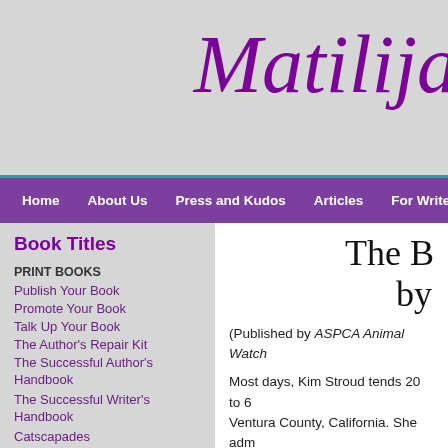Matilija
Home | About Us | Press and Kudos | Articles | For Writers | Edito
Book Titles
PRINT BOOKS
Publish Your Book
Promote Your Book
Talk Up Your Book
The Author's Repair Kit
The Successful Author's Handbook
The Successful Writer's Handbook
Catscapades
EBOOKS
The B by
(Published by ASPCA Animal Watch
Most days, Kim Stroud tends 20 to 6 Ventura County, California. She adm
In 1992, Patagonia, a company that the opportunity to train with local ra volunteered. She says, "Patagonia su a week."